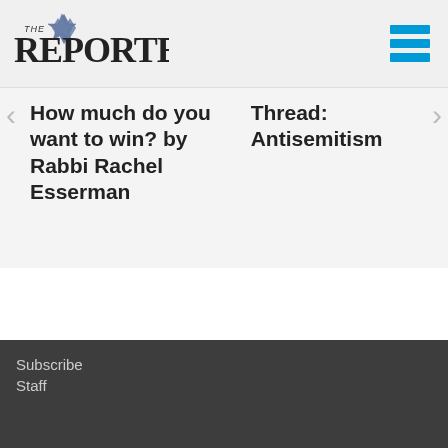The Reporter
How much do you want to win? by Rabbi Rachel Esserman
Thread: Antisemitism
Subscribe
Staff